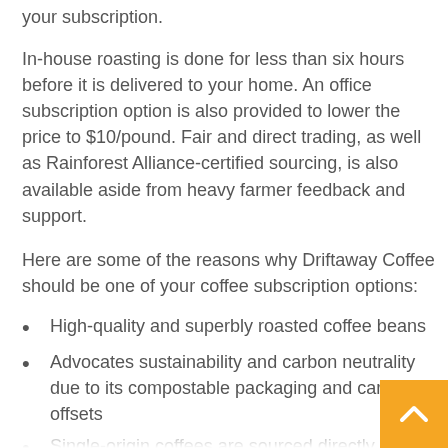your subscription.
In-house roasting is done for less than six hours before it is delivered to your home. An office subscription option is also provided to lower the price to $10/pound. Fair and direct trading, as well as Rainforest Alliance-certified sourcing, is also available aside from heavy farmer feedback and support.
Here are some of the reasons why Driftaway Coffee should be one of your coffee subscription options:
High-quality and superbly roasted coffee beans
Advocates sustainability and carbon neutrality due to its compostable packaging and carbon offsets
Single-origin coffees are sourced directly from the farmers
A sampler of various coffee types is available to evaluate your flavor profile
A monthly selection of the finest coffee beans from small farmer smallholders